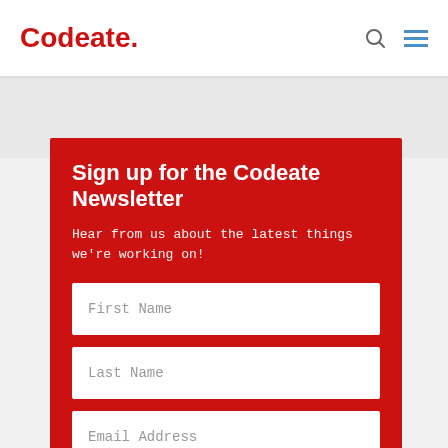Codeate.
Sign up for the Codeate Newsletter
Hear from us about the latest things we're working on!